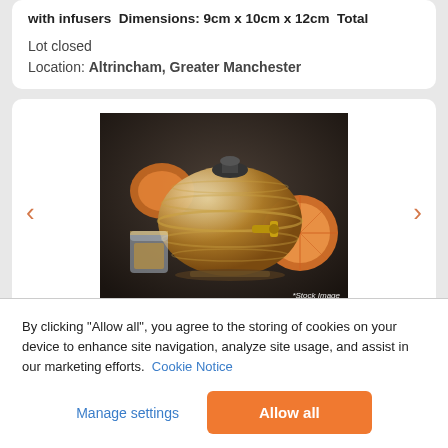with infusers  Dimensions: 9cm x 10cm x 12cm  Total
Lot closed
Location: Altrincham, Greater Manchester
[Figure (photo): A glass barrel-shaped whisky decanter with a brass tap, filled with amber liquid, surrounded by orange slices and accompanied by a tumbler glass, on a dark background. '*Stock Image' watermark at bottom right.]
By clicking “Allow all”, you agree to the storing of cookies on your device to enhance site navigation, analyze site usage, and assist in our marketing efforts. Cookie Notice
Manage settings
Allow all